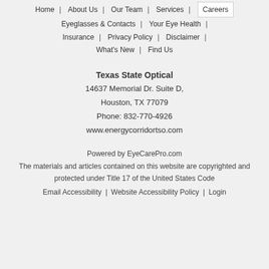Home | About Us | Our Team | Services | Careers
Eyeglasses & Contacts | Your Eye Health | Insurance | Privacy Policy | Disclaimer | What's New | Find Us
Texas State Optical
14637 Memorial Dr. Suite D,
Houston, TX 77079
Phone: 832-770-4926
www.energycorridortso.com
Powered by EyeCarePro.com
The materials and articles contained on this website are copyrighted and protected under Title 17 of the United States Code
Email Accessibility | Website Accessibility Policy | Login